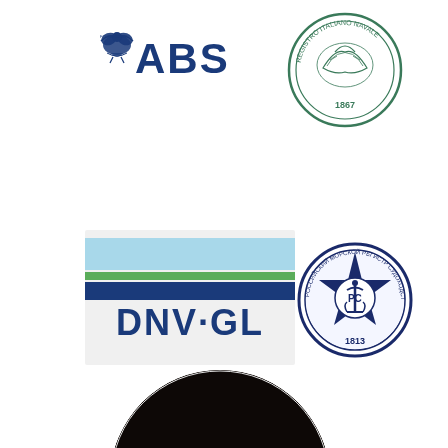[Figure (logo): ABS (American Bureau of Shipping) logo with eagle and text ABS]
[Figure (logo): Circular emblem with decorative design, dated 1867, green outline]
[Figure (logo): DNV GL logo with colored horizontal stripes (light blue, green, dark blue) and DNV·GL text]
[Figure (logo): Russian Maritime Register of Shipping circular badge with star, anchor, and year 1813, navy blue]
[Figure (photo): Circular cropped photograph showing metal industrial components, close-up with warm tones]